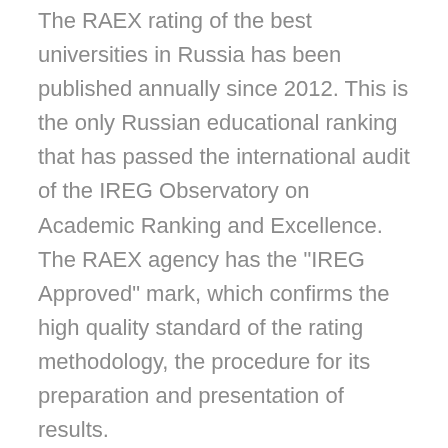The RAEX rating of the best universities in Russia has been published annually since 2012. This is the only Russian educational ranking that has passed the international audit of the IREG Observatory on Academic Ranking and Excellence. The RAEX agency has the "IREG Approved" mark, which confirms the high quality standard of the rating methodology, the procedure for its preparation and presentation of results.
43 indicators are used to compile the rating. They are grouped into three groups: the quality of education in universities (gives 50% of the final grade), the demand